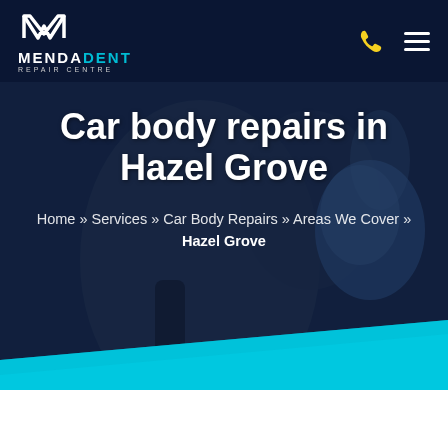[Figure (screenshot): Website header for MendaDent Repair Centre showing a mechanic holding a blue cloth, with dark navy overlay, logo top-left, phone and hamburger menu icons top-right]
MENDADENT REPAIR CENTRE
Car body repairs in Hazel Grove
Home » Services » Car Body Repairs » Areas We Cover » Hazel Grove